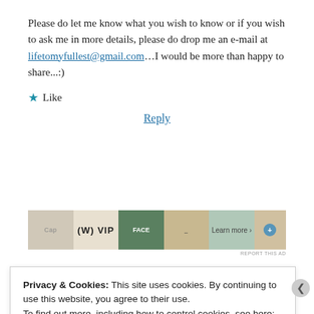Please do let me know what you wish to know or if you wish to ask me in more details, please do drop me an e-mail at lifetomyfullest@gmail.com…I would be more than happy to share...:)
★ Like
Reply
[Figure (other): Advertisement banner with card/product images and VIP branding, learn more link]
REPORT THIS AD
Privacy & Cookies: This site uses cookies. By continuing to use this website, you agree to their use.
To find out more, including how to control cookies, see here:
Cookie Policy
[Close and accept]